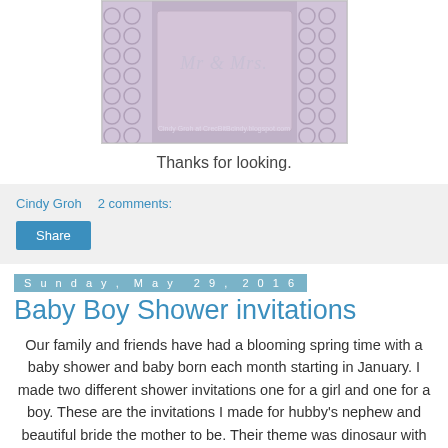[Figure (photo): A photo of a 'Mr & Mrs' themed craft/card with lace patterned background. Watermark reads: Cindy Groh at CrecBitBcindy.blogspot.com]
Thanks for looking.
Cindy Groh   2 comments:
Share
Sunday, May 29, 2016
Baby Boy Shower invitations
Our family and friends have had a blooming spring time with a baby shower and baby born each month starting in January. I made two different shower invitations one for a girl and one for a boy. These are the invitations I made for hubby's nephew and beautiful bride the mother to be. Their theme was dinosaur with some dirt bike riding in there.